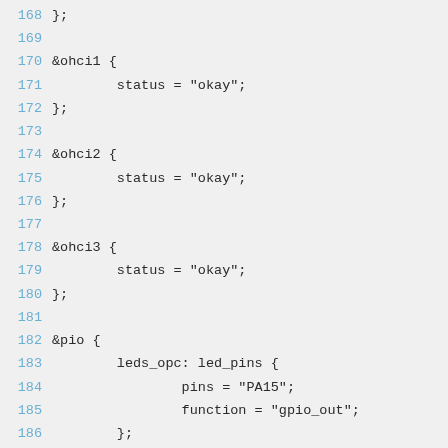168 };
169 
170 &ohci1 {
171     status = "okay";
172 };
173 
174 &ohci2 {
175     status = "okay";
176 };
177 
178 &ohci3 {
179     status = "okay";
180 };
181 
182 &pio {
183     leds_opc: led_pins {
184             pins = "PA15";
185             function = "gpio_out";
186         };
187 };
188 
189 &r_i2c {
190     status = "okay";
191 
192     reg_vdd_cpux: regulator@65 {